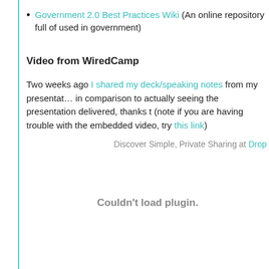Government 2.0 Best Practices Wiki (An online repository full of used in government)
Video from WiredCamp
Two weeks ago I shared my deck/speaking notes from my presentation in comparison to actually seeing the presentation delivered, thanks t (note if you are having trouble with the embedded video, try this link)
Discover Simple, Private Sharing at Drop
Couldn't load plugin.